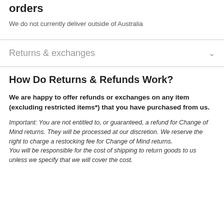orders
We do not currently deliver outside of Australia
Returns & exchanges
How Do Returns & Refunds Work?
We are happy to offer refunds or exchanges on any item (excluding restricted items*) that you have purchased from us.
Important: You are not entitled to, or guaranteed, a refund for Change of Mind returns. They will be processed at our discretion. We reserve the right to charge a restocking fee for Change of Mind returns.
You will be responsible for the cost of shipping to return goods to us unless we specify that we will cover the cost.